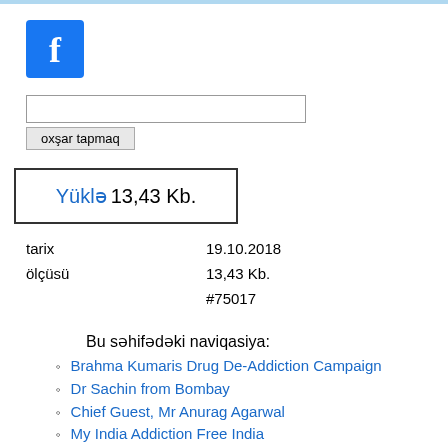[Figure (logo): Facebook logo icon - blue square with white letter f]
[Figure (other): Search input box (text field)]
oxşar tapmaq
Yüklə 13,43 Kb.
| tarix | 19.10.2018 |
| ölçüsü | 13,43 Kb. |
|  | #75017 |
Bu səhifədəki naviqasiya:
Brahma Kumaris Drug De-Addiction Campaign
Dr Sachin from Bombay
Chief Guest, Mr Anurag Agarwal
My India Addiction Free India